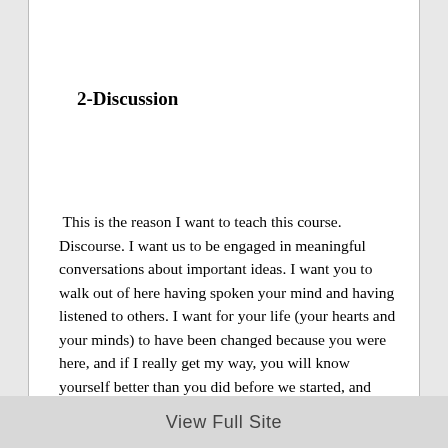2-Discussion
This is the reason I want to teach this course. Discourse. I want us to be engaged in meaningful conversations about important ideas. I want you to walk out of here having spoken your mind and having listened to others. I want for your life (your hearts and your minds) to have been changed because you were here, and if I really get my way, you will know yourself better than you did before we started, and you will have developed important perspectives about life and living.
View Full Site